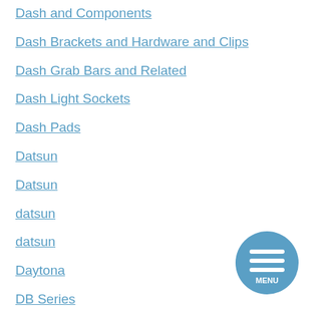Dash and Components
Dash Brackets and Hardware and Clips
Dash Grab Bars and Related
Dash Light Sockets
Dash Pads
Datsun
Datsun
datsun
datsun
Daytona
DB Series
DB7
DB9
[Figure (other): Circular blue menu button with three horizontal white lines and the word MENU below them]